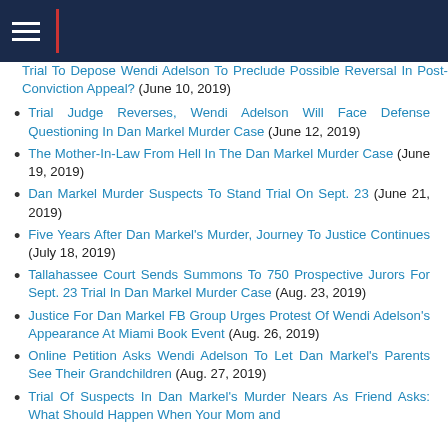Navigation header bar
Trial To Depose Wendi Adelson To Preclude Possible Reversal In Post-Conviction Appeal? (June 10, 2019)
Trial Judge Reverses, Wendi Adelson Will Face Defense Questioning In Dan Markel Murder Case (June 12, 2019)
The Mother-In-Law From Hell In The Dan Markel Murder Case (June 19, 2019)
Dan Markel Murder Suspects To Stand Trial On Sept. 23 (June 21, 2019)
Five Years After Dan Markel's Murder, Journey To Justice Continues (July 18, 2019)
Tallahassee Court Sends Summons To 750 Prospective Jurors For Sept. 23 Trial In Dan Markel Murder Case (Aug. 23, 2019)
Justice For Dan Markel FB Group Urges Protest Of Wendi Adelson's Appearance At Miami Book Event (Aug. 26, 2019)
Online Petition Asks Wendi Adelson To Let Dan Markel's Parents See Their Grandchildren (Aug. 27, 2019)
Trial Of Suspects In Dan Markel's Murder Nears As Friend Asks: What Should Happen When Your Mom and...